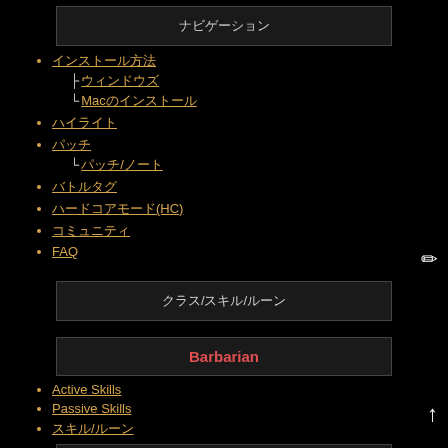（navigation section header with CJK characters）
（CJK link 1）
├（CJK sub-link）
└Mac（CJK sub-link）
（CJK link 2）
（CJK link 3）
└（CJK sub-link）/（CJK sub-link）
（CJK link 4）
（CJK link 5）(HC)
（CJK link 6）
FAQ
（CJK）/（CJK）/（CJK）
Barbarian
Active Skills
Passive Skills
（CJK）/（CJK）
Crusader